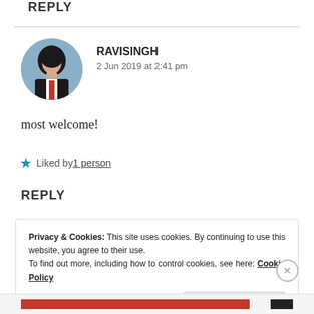REPLY
[Figure (photo): Circular avatar photo of a man in a dark suit with a red tie, against a light blue background]
RAVISINGH
2 Jun 2019 at 2:41 pm
most welcome!
★ Liked by 1 person
REPLY
Privacy & Cookies: This site uses cookies. By continuing to use this website, you agree to their use.
To find out more, including how to control cookies, see here: Cookie Policy
Close and accept